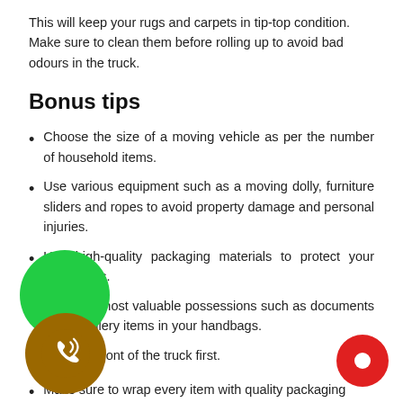This will keep your rugs and carpets in tip-top condition. Make sure to clean them before rolling up to avoid bad odours in the truck.
Bonus tips
Choose the size of a moving vehicle as per the number of household items.
Use various equipment such as a moving dolly, furniture sliders and ropes to avoid property damage and personal injuries.
Use high-quality packaging materials to protect your belongings.
Keep the most valuable possessions such as documents and jewellery items in your handbags.
Load the front of the truck first.
Make sure to wrap every item with quality packaging